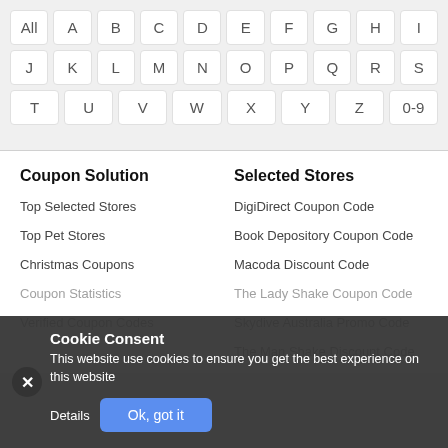[Figure (screenshot): Alphabetical navigation grid with letter buttons: All, A-Z rows, and 0-9]
Coupon Solution
Selected Stores
Top Selected Stores
DigiDirect Coupon Code
Top Pet Stores
Book Depository Coupon Code
Christmas Coupons
Macoda Discount Code
Coupon Statistics
The Lady Shake Coupon Code
Verified Coupon Codes
Skydive Australia Promo Code
The Man Shake Discount Code
Cookie Consent
This website use cookies to ensure you get the best experience on this website
Details
Ok, got it